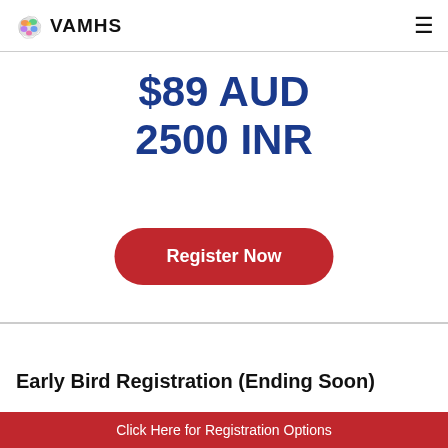VAMHS
$89 AUD
2500 INR
Register Now
Early Bird Registration (Ending Soon)
Click Here for Registration Options